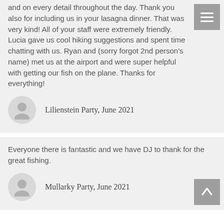and on every detail throughout the day. Thank you also for including us in your lasagna dinner. That was very kind! All of your staff were extremely friendly. Lucia gave us cool hiking suggestions and spent time chatting with us. Ryan and (sorry forgot 2nd person's name) met us at the airport and were super helpful with getting our fish on the plane. Thanks for everything!
Lilienstein Party, June 2021
Everyone there is fantastic and we have DJ to thank for the great fishing.
Mullarky Party, June 2021